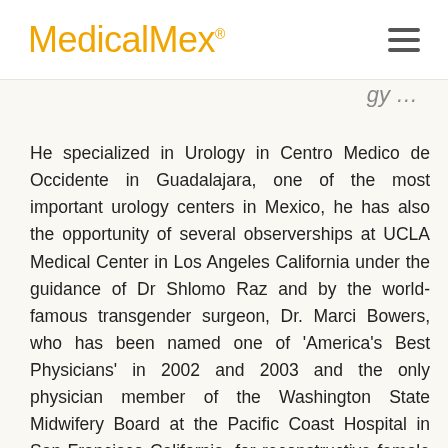MedicalMex®
He specialized in Urology in Centro Medico de Occidente in Guadalajara, one of the most important urology centers in Mexico, he has also the opportunity of several observerships at UCLA Medical Center in Los Angeles California under the guidance of Dr Shlomo Raz and by the world-famous transgender surgeon, Dr. Marci Bowers, who has been named one of 'America's Best Physicians' in 2002 and 2003 and the only physician member of the Washington State Midwifery Board at the Pacific Coast Hospital in San Francisco California, for reconstructive female and transgender surgery program, he was the first Mexican to attend the Center for Urethra and Genital Reconstructive Urology Surgery at Arezzo, Italy. Under the guidance